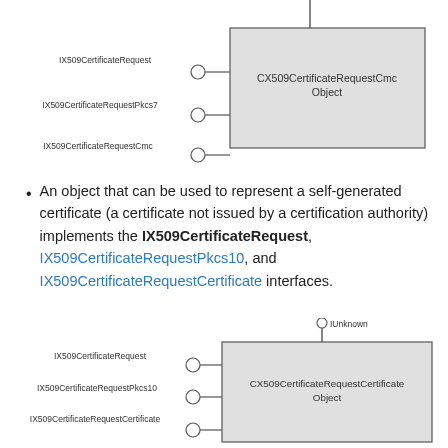[Figure (engineering-diagram): UML-style object diagram showing CX509CertificateRequestCmc Object with three interfaces: IX509CertificateRequest, IX509CertificateRequestPkcs7, IX509CertificateRequestCmc connected via lollipop connectors, and an IUnknown inheritance line from top.]
An object that can be used to represent a self-generated certificate (a certificate not issued by a certification authority) implements the IX509CertificateRequest, IX509CertificateRequestPkcs10, and IX509CertificateRequestCertificate interfaces.
[Figure (engineering-diagram): UML-style object diagram showing CX509CertificateRequestCertificate Object with three interfaces: IX509CertificateRequest, IX509CertificateRequestPkcs10, IX509CertificateRequestCertificate connected via lollipop connectors, and an IUnknown inheritance line from top.]